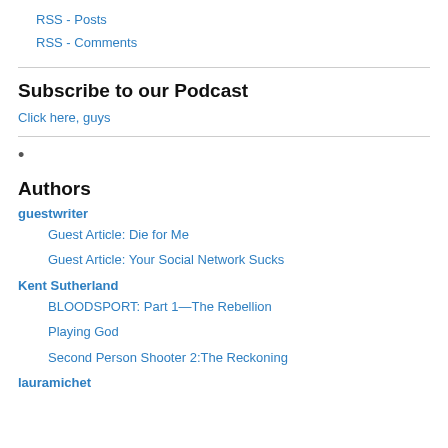RSS - Posts
RSS - Comments
Subscribe to our Podcast
Click here, guys
•
Authors
guestwriter
Guest Article: Die for Me
Guest Article: Your Social Network Sucks
Kent Sutherland
BLOODSPORT: Part 1—The Rebellion
Playing God
Second Person Shooter 2:The Reckoning
lauramichet